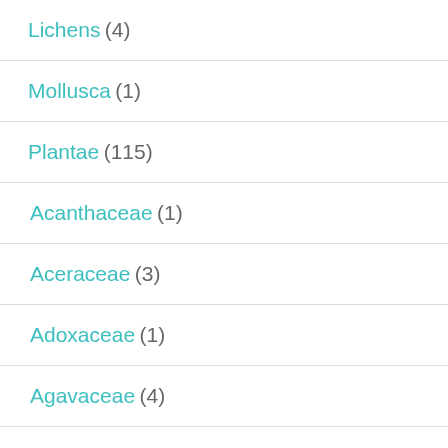Lichens (4)
Mollusca (1)
Plantae (115)
Acanthaceae (1)
Aceraceae (3)
Adoxaceae (1)
Agavaceae (4)
Alismataceae (1)